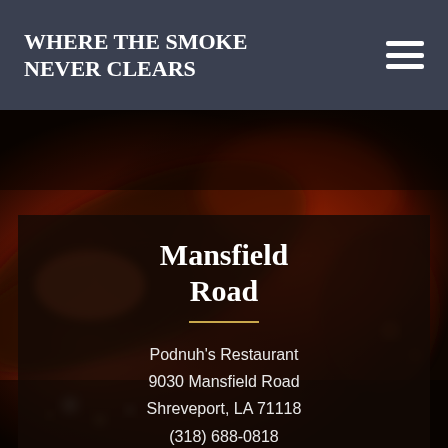WHERE THE SMOKE NEVER CLEARS
[Figure (photo): Blurred smoky BBQ fire background image with warm red, orange, and dark tones suggesting grilled meat with smoke and glowing embers]
Mansfield Road
Podnuh's Restaurant
9030 Mansfield Road
Shreveport, LA 71118
(318) 688-0818
GOOGLE MAP